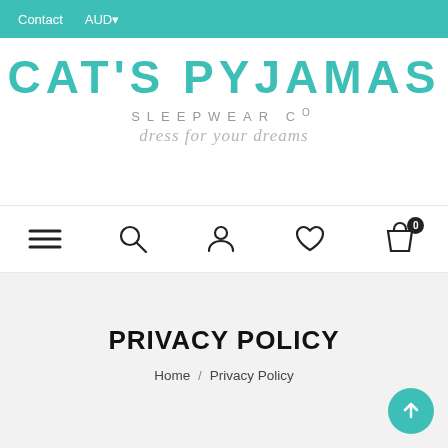Contact   AUD▾
[Figure (logo): Cat's Pyjamas Sleepwear Co logo with teal text reading CAT'S PYJAMAS, subtext SLEEPWEAR CO and script text 'dress for your dreams']
[Figure (screenshot): Navigation icon bar with hamburger menu, search, user account, heart/wishlist, and shopping bag (0) icons]
PRIVACY POLICY
Home / Privacy Policy